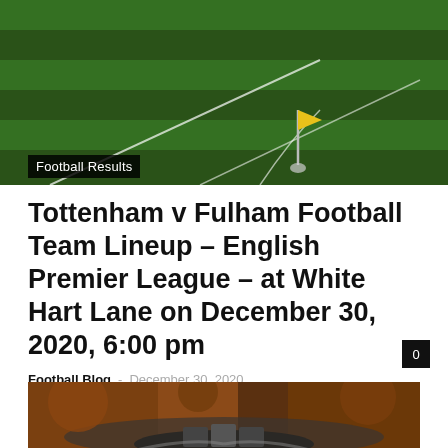[Figure (photo): Aerial/ground-level view of a football pitch corner with a yellow corner flag on green grass]
Football Results
Tottenham v Fulham Football Team Lineup – English Premier League – at White Hart Lane on December 30, 2020, 6:00 pm
Football Blog · December 30, 2020
[Figure (photo): Aerial view of a football stadium exterior surrounded by autumn trees]